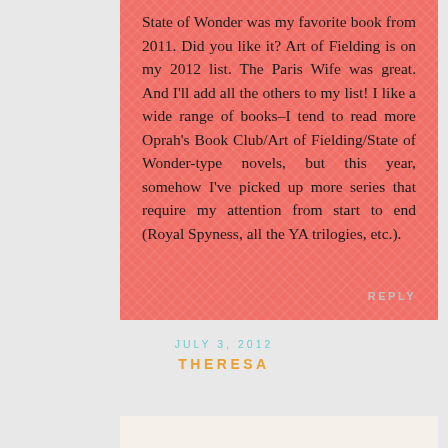State of Wonder was my favorite book from 2011. Did you like it? Art of Fielding is on my 2012 list. The Paris Wife was great. And I'll add all the others to my list! I like a wide range of books–I tend to read more Oprah's Book Club/Art of Fielding/State of Wonder-type novels, but this year, somehow I've picked up more series that require my attention from start to end (Royal Spyness, all the YA trilogies, etc.).
REPLY
JULY 3, 2012
THERESA